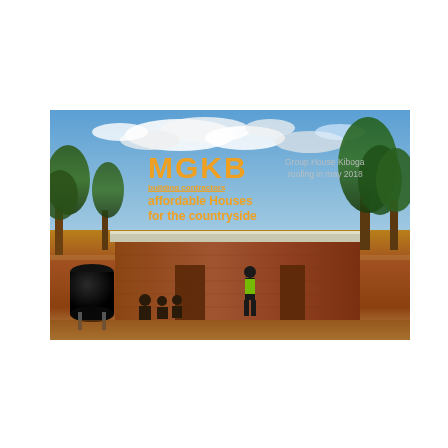[Figure (photo): Photograph of a brick building under construction in Kiboga, with a corrugated iron roof, a black water tank on the left, trees in background, children seated and a worker in high-vis vest standing in front. Overlaid with MGKB branding text in orange and a caption in light gray.]